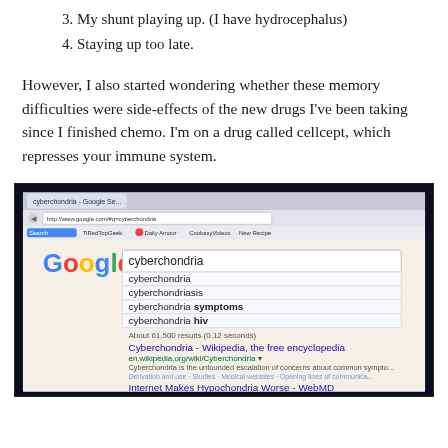3. My shunt playing up. (I have hydrocephalus)
4. Staying up too late.
However, I also started wondering whether these memory difficulties were side-effects of the new drugs I've been taking since I finished chemo. I'm on a drug called cellcept, which represses your immune system.
[Figure (screenshot): Screenshot of a Google search for 'cyberchondria', showing autocomplete suggestions (cyberchondria, cyberchondriasis, cyberchondria symptoms, cyberchondria hiv), result count 'About 61,500 results (0.12 seconds)', and top results including 'Cyberchondria - Wikipedia, the free encyclopedia' and 'Internet Makes Hypochondria Worse - WebMD'.]